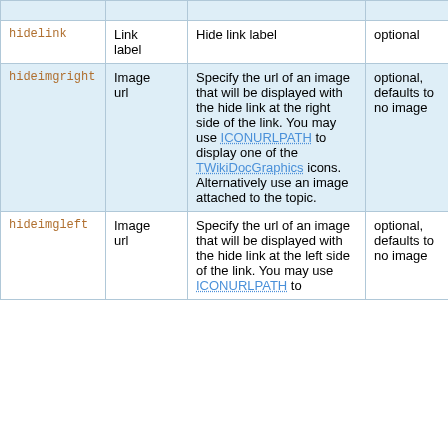| Parameter | Type | Description | Notes |
| --- | --- | --- | --- |
| hidelink | Link label | Hide link label | optional |
| hideimgright | Image url | Specify the url of an image that will be displayed with the hide link at the right side of the link. You may use ICONURLPATH to display one of the TWikiDocGraphics icons. Alternatively use an image attached to the topic. | optional, defaults to no image |
| hideimgleft | Image url | Specify the url of an image that will be displayed with the hide link at the left side of the link. You may use ICONURLPATH to | optional, defaults to no image |